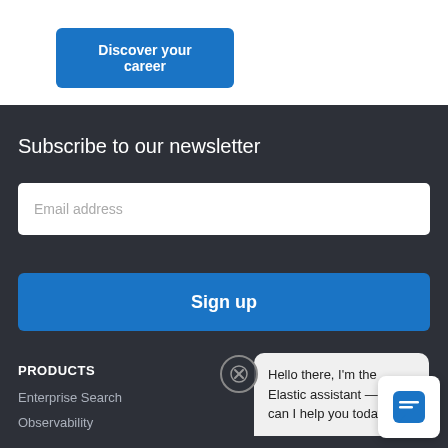[Figure (screenshot): Blue 'Discover your career' button on white background]
Subscribe to our newsletter
Email address (input placeholder)
Sign up
PRODUCTS
Enterprise Search
Observability
Hello there, I'm the Elastic assistant 🤖 How can I help you today?